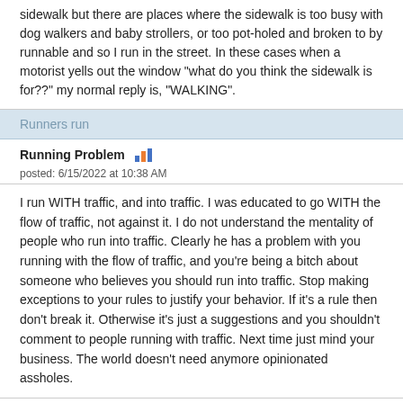sidewalk but there are places where the sidewalk is too busy with dog walkers and baby strollers, or too pot-holed and broken to by runnable and so I run in the street. In these cases when a motorist yells out the window "what do you think the sidewalk is for??" my normal reply is, "WALKING".
Runners run
Running Problem
posted: 6/15/2022 at 10:38 AM
I run WITH traffic, and into traffic. I was educated to go WITH the flow of traffic, not against it. I do not understand the mentality of people who run into traffic. Clearly he has a problem with you running with the flow of traffic, and you're being a bitch about someone who believes you should run into traffic. Stop making exceptions to your rules to justify your behavior. If it's a rule then don't break it. Otherwise it's just a suggestions and you shouldn't comment to people running with traffic. Next time just mind your business. The world doesn't need anymore opinionated assholes.
Many of us aren't sure what the hell point you are trying to make and no matter how we guess, it always seems to be something else. Which usually means a person is doing it on purpose.
UPVOTE